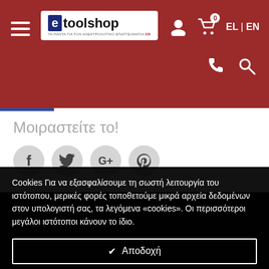[Figure (logo): e-toolshop logo in header navigation bar with hamburger menu, user icon, cart icon with 0, EL|EN language switcher, phone icon, and search icon on dark red background]
Μοιραστείτε το!
[Figure (infographic): Social share buttons: Facebook (f), Twitter (bird), Google+ (G+), Pinterest (P) — circular grey icons]
Cookies Για να εξασφαλίσουμε τη σωστή λειτουργία του ιστότοπου, μερικές φορές τοποθετούμε μικρά αρχεία δεδομένων στον υπολογιστή σας, τα λεγόμενα «cookies». Οι περισσότεροι μεγάλοι ιστότοποι κάνουν το ίδιο.
✔ Αποδοχή
Αρνούμαι ✕